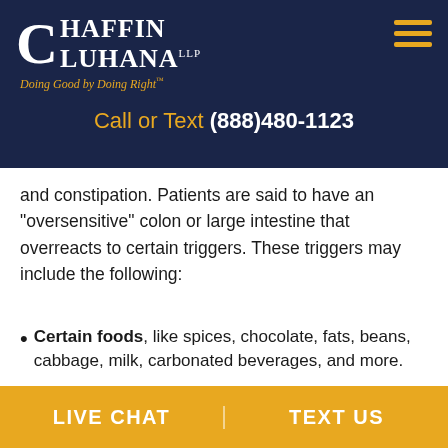[Figure (logo): Chaffin Luhana LLP logo with tagline 'Doing Good by Doing Right' on dark navy background]
Call or Text (888)480-1123
and constipation. Patients are said to have an “oversensitive” colon or large intestine that overreacts to certain triggers. These triggers may include the following:
Certain foods, like spices, chocolate, fats, beans, cabbage, milk, carbonated beverages, and more.
LIVE CHAT | TEXT US